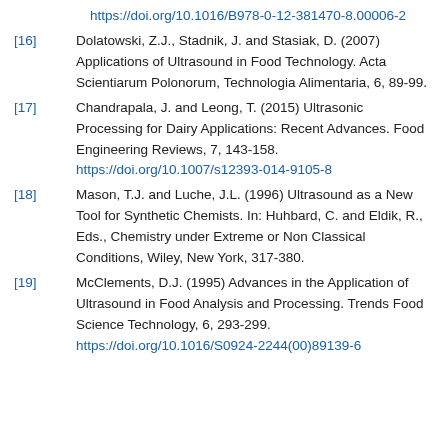https://doi.org/10.1016/B978-0-12-381470-8.00006-2
[16] Dolatowski, Z.J., Stadnik, J. and Stasiak, D. (2007) Applications of Ultrasound in Food Technology. Acta Scientiarum Polonorum, Technologia Alimentaria, 6, 89-99.
[17] Chandrapala, J. and Leong, T. (2015) Ultrasonic Processing for Dairy Applications: Recent Advances. Food Engineering Reviews, 7, 143-158. https://doi.org/10.1007/s12393-014-9105-8
[18] Mason, T.J. and Luche, J.L. (1996) Ultrasound as a New Tool for Synthetic Chemists. In: Huhbard, C. and Eldik, R., Eds., Chemistry under Extreme or Non Classical Conditions, Wiley, New York, 317-380.
[19] McClements, D.J. (1995) Advances in the Application of Ultrasound in Food Analysis and Processing. Trends Food Science Technology, 6, 293-299. https://doi.org/10.1016/S0924-2244(00)89139-6